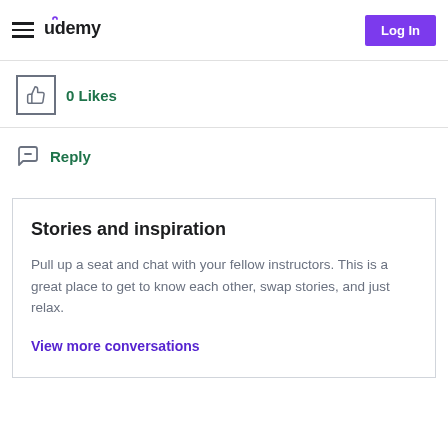Udemy — Log In
0 Likes
Reply
Stories and inspiration
Pull up a seat and chat with your fellow instructors. This is a great place to get to know each other, swap stories, and just relax.
View more conversations